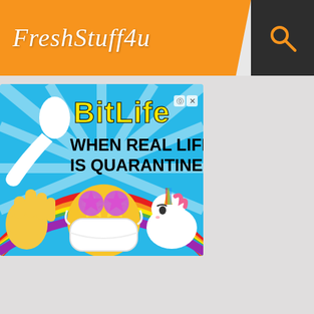FreshStuff4u
[Figure (screenshot): BitLife advertisement banner. Sky blue background with radiating light rays. White sperm cell illustration on the left. Yellow bold text 'BitLife' at top right with copyright and close (x) buttons. Black bold text reads 'WHEN REAL LIFE IS QUARANTINED'. Bottom half shows a rainbow arc with a face emoji wearing a medical mask and star eyes, a thumbs up hand on the left, and a unicorn on the right.]